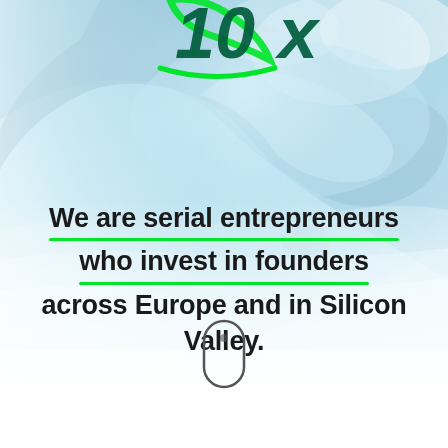[Figure (photo): Background photo of a large ocean wave (tube/barrel) with a surfer visible in the wave, merging into white mist/fog at the bottom and edges. A partial green '10x' logo is visible at the top.]
We are serial entrepreneurs who invest in founders across Europe and in Silicon Valley.